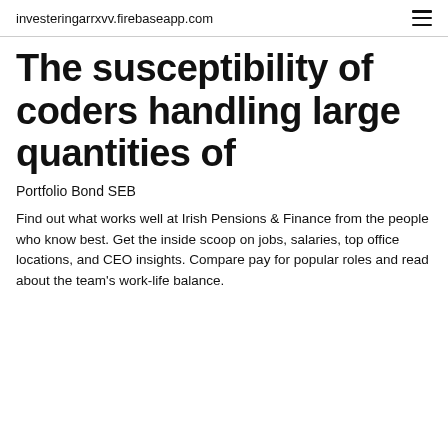investeringarrxvv.firebaseapp.com
The susceptibility of coders handling large quantities of
Portfolio Bond SEB
Find out what works well at Irish Pensions & Finance from the people who know best. Get the inside scoop on jobs, salaries, top office locations, and CEO insights. Compare pay for popular roles and read about the team's work-life balance.